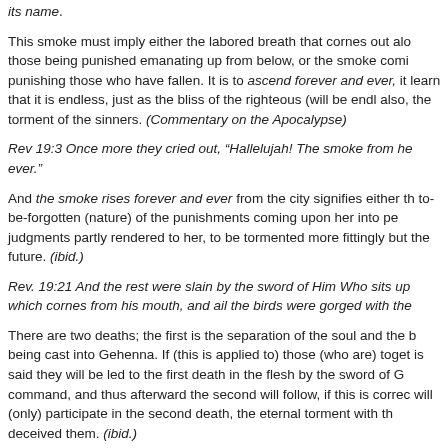its name.
This smoke must imply either the labored breath that cornes out along those being punished emanating up from below, or the smoke coming from punishing those who have fallen. It is to ascend forever and ever, it is to learn that it is endless, just as the bliss of the righteous (will be endless), also, the torment of the sinners. (Commentary on the Apocalypse)
Rev 19:3 Once more they cried out, “Hallelujah! The smoke from her rises forever and ever.”
And the smoke rises forever and ever from the city signifies either the not-to-be-forgotten (nature) of the punishments coming upon her into perpetuity, judgments partly rendered to her, to be tormented more fittingly but also in the future. (ibid.)
Rev. 19:21 And the rest were slain by the sword of Him Who sits upon, which cornes from his mouth, and ail the birds were gorged with the
There are two deaths; the first is the separation of the soul and the body being cast into Gehenna. If (this is applied to) those (who are) together it is said they will be led to the first death in the flesh by the sword of God’s command, and thus afterward the second will follow, if this is correct… will (only) participate in the second death, the eternal torment with the deceived them. (ibid.)